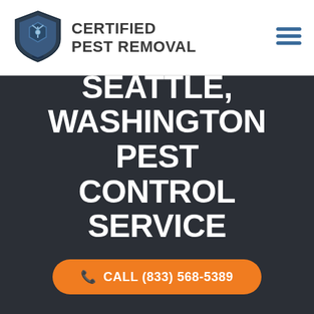[Figure (logo): Certified Pest Removal shield logo with blue and grey colors, hexagonal insect design]
CERTIFIED PEST REMOVAL
[Figure (other): Hamburger menu icon with three horizontal lines in dark blue]
SEATTLE, WASHINGTON PEST CONTROL SERVICE
CALL (833) 568-5389